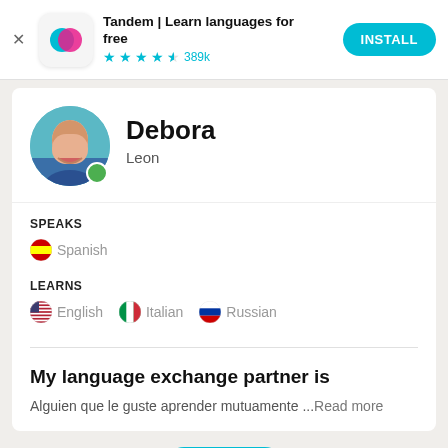[Figure (screenshot): Ad banner for Tandem app with close button, app icon (teal and pink overlapping circles), title, star rating, and Install button]
Tandem | Learn languages for free
★★★★☆ 389k
INSTALL
[Figure (photo): Profile photo of Debora, a woman with dark hair, circular crop with green online indicator dot]
Debora
Leon
SPEAKS
🇪🇸 Spanish
LEARNS
🇺🇸 English  🇮🇹 Italian  🇷🇺 Russian
My language exchange partner is
Alguien que le guste aprender mutuamente ...Read more